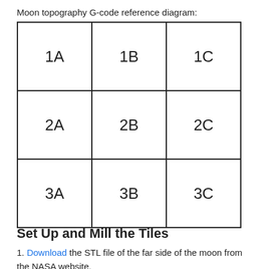Moon topography G-code reference diagram:
| Col A | Col B | Col C |
| --- | --- | --- |
| 1A | 1B | 1C |
| 2A | 2B | 2C |
| 3A | 3B | 3C |
Set Up and Mill the Tiles
1. Download the STL file of the far side of the moon from the NASA website.